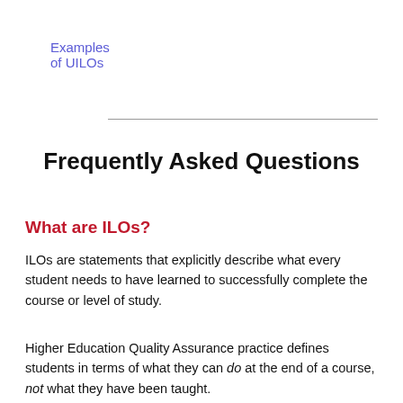Examples of UILOs
Frequently Asked Questions
What are ILOs?
ILOs are statements that explicitly describe what every student needs to have learned to successfully complete the course or level of study.
Higher Education Quality Assurance practice defines students in terms of what they can do at the end of a course, not what they have been taught.